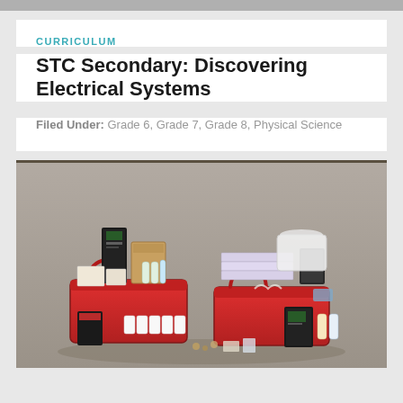CURRICULUM
STC Secondary: Discovering Electrical Systems
Filed Under: Grade 6, Grade 7, Grade 8, Physical Science
[Figure (photo): Photo of STC Secondary: Discovering Electrical Systems curriculum kit showing two red baskets filled with science supplies, books, containers, bottles, and various educational materials arranged on a grey background.]